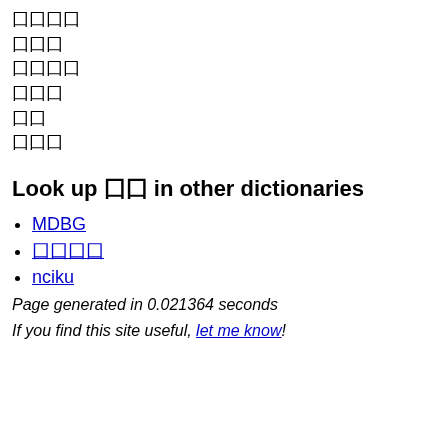囗囗囗囗
囗囗囗
囗囗囗囗
囗囗囗
囗囗
囗囗囗
Look up 囗囗 in other dictionaries
MDBG
囗囗囗囗
nciku
Page generated in 0.021364 seconds
If you find this site useful, let me know!